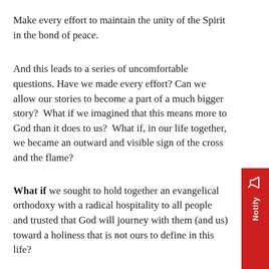Make every effort to maintain the unity of the Spirit in the bond of peace.
And this leads to a series of uncomfortable questions. Have we made every effort? Can we allow our stories to become a part of a much bigger story?  What if we imagined that this means more to God than it does to us?  What if, in our life together, we became an outward and visible sign of the cross and the flame?
What if we sought to hold together an evangelical orthodoxy with a radical hospitality to all people and trusted that God will journey with them (and us) toward a holiness that is not ours to define in this life?